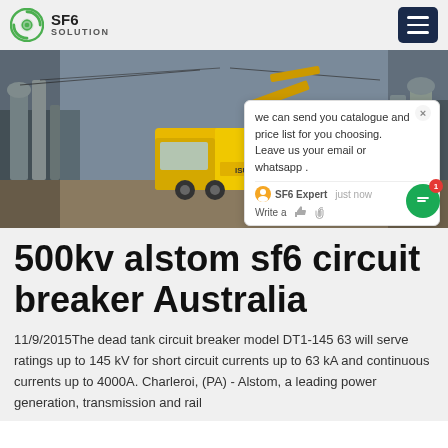SF6 SOLUTION
[Figure (photo): Yellow Isuzu truck parked at an electrical substation with large equipment and infrastructure visible in the background]
500kv alstom sf6 circuit breaker Australia
11/9/2015The dead tank circuit breaker model DT1-145 63 will serve ratings up to 145 kV for short circuit currents up to 63 kA and continuous currents up to 4000A. Charleroi, (PA) - Alstom, a leading power generation, transmission and rail